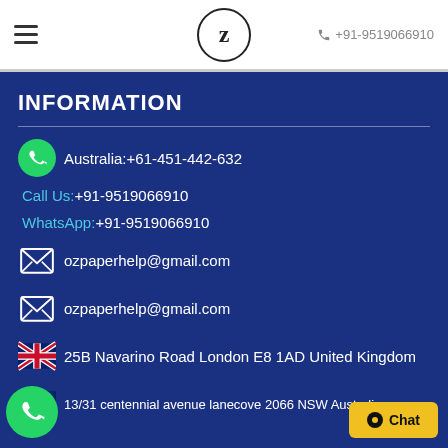≡  Z  +91-9519066910
INFORMATION
Australia:+61-451-442-632
Call Us:+91-9519066910
WhatsApp:+91-9519066910
ozpaperhelp@gmail.com
ozpaperhelp@gmail.com
25B Navarino Road London E8 1AD United Kingdom
13/31 centennial avenue lanecove 2066 NSW Australia